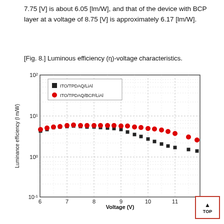7.75 [V] is about 6.05 [lm/W], and that of the device with BCP layer at a voltage of 8.75 [V] is approximately 6.17 [lm/W].
[Fig. 8.] Luminous efficiency (η)-voltage characteristics.
[Figure (continuous-plot): Log-scale scatter plot showing luminance efficiency (lm/W) vs voltage (V) from 6 to 12 V for two device configurations: ITO/TPDAQ/LiAl (black squares) and ITO/TPDAQ/BCP/LiAl (red circles). Both series show peak efficiency around 5-7 lm/W between 6-9V, then declining at higher voltages, with the BCP device declining more slowly.]